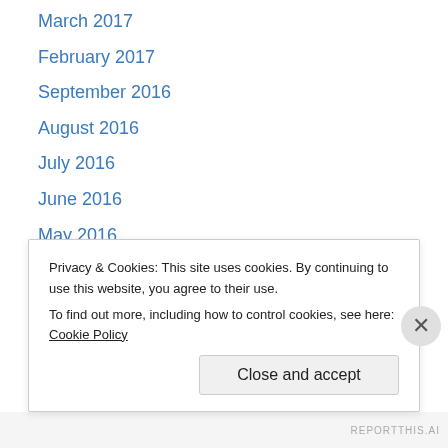March 2017
February 2017
September 2016
August 2016
July 2016
June 2016
May 2016
April 2016
March 2016
February 2016
January 2016
December 2015
November 2015
October 2015
Privacy & Cookies: This site uses cookies. By continuing to use this website, you agree to their use.
To find out more, including how to control cookies, see here: Cookie Policy
Close and accept